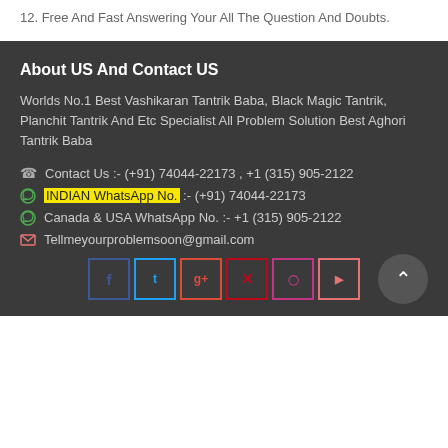12. Free And Fast Answering Your All The Question And Doubts.
About US And Contact US
Worlds No.1 Best Vashikaran Tantrik Baba, Black Magic Tantrik, Planchit Tantrik And Etc Specialist All Problem Solution Best Aghori Tantrik Baba
Contact Us :- (+91) 74044-22173 , +1 (315) 905-2122
INDIAN WhatsApp No. :- (+91) 74044-22173
Canada & USA WhatsApp No. :- +1 (315) 905-2122
Tellmeyourproblemsoon@gmail.com
[Figure (infographic): Social media icon buttons for Facebook, Twitter, Google+, Pinterest, Instagram, YouTube arranged in a row, plus a back-to-top circular button]